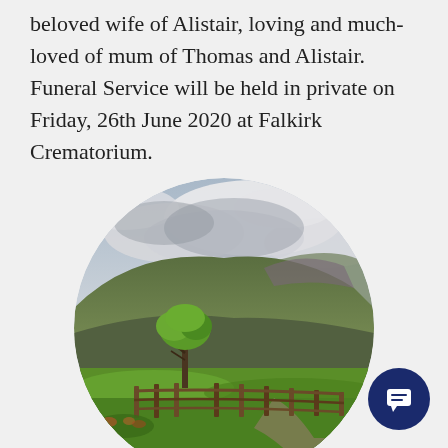beloved wife of Alistair, loving and much-loved of mum of Thomas and Alistair. Funeral Service will be held in private on Friday, 26th June 2020 at Falkirk Crematorium.
[Figure (photo): Circular cropped landscape photograph of a Scottish highland scene: green rolling hills under dramatic cloudy sky, a lone tree in the foreground, wooden fence along a road, lush green grass.]